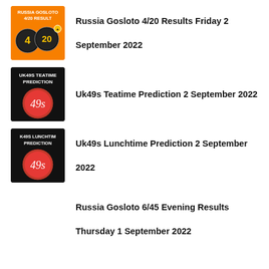Russia Gosloto 4/20 Results Friday 2 September 2022
Uk49s Teatime Prediction 2 September 2022
Uk49s Lunchtime Prediction 2 September 2022
Russia Gosloto 6/45 Evening Results Thursday 1 September 2022